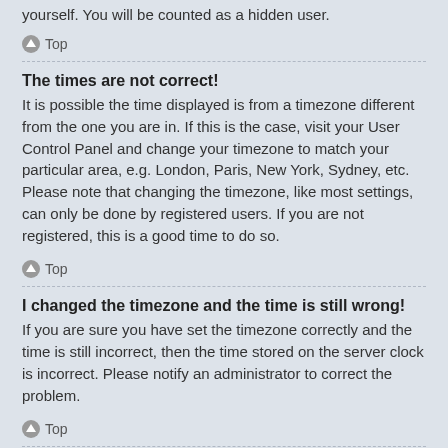yourself. You will be counted as a hidden user.
Top
The times are not correct!
It is possible the time displayed is from a timezone different from the one you are in. If this is the case, visit your User Control Panel and change your timezone to match your particular area, e.g. London, Paris, New York, Sydney, etc. Please note that changing the timezone, like most settings, can only be done by registered users. If you are not registered, this is a good time to do so.
Top
I changed the timezone and the time is still wrong!
If you are sure you have set the timezone correctly and the time is still incorrect, then the time stored on the server clock is incorrect. Please notify an administrator to correct the problem.
Top
My language is not in the list!